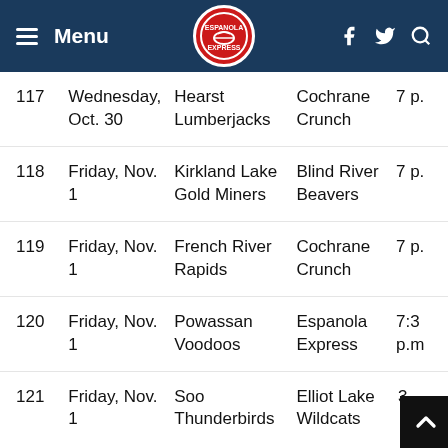Menu — Espanola Express hockey schedule navigation header
| # | Date | Visitor | Home | Time |
| --- | --- | --- | --- | --- |
| 117 | Wednesday, Oct. 30 | Hearst Lumberjacks | Cochrane Crunch | 7 p. |
| 118 | Friday, Nov. 1 | Kirkland Lake Gold Miners | Blind River Beavers | 7 p. |
| 119 | Friday, Nov. 1 | French River Rapids | Cochrane Crunch | 7 p. |
| 120 | Friday, Nov. 1 | Powassan Voodoos | Espanola Express | 7:3 p.m |
| 121 | Friday, Nov. 1 | Soo Thunderbirds | Elliot Lake Wildcats | 3 |